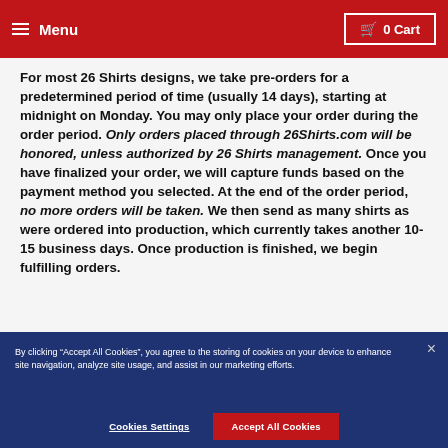Menu | 0 Cart
For most 26 Shirts designs, we take pre-orders for a predetermined period of time (usually 14 days), starting at midnight on Monday. You may only place your order during the order period. Only orders placed through 26Shirts.com will be honored, unless authorized by 26 Shirts management. Once you have finalized your order, we will capture funds based on the payment method you selected. At the end of the order period, no more orders will be taken. We then send as many shirts as were ordered into production, which currently takes another 10-15 business days. Once production is finished, we begin fulfilling orders.
By clicking “Accept All Cookies”, you agree to the storing of cookies on your device to enhance site navigation, analyze site usage, and assist in our marketing efforts.
Cookies Settings
Accept All Cookies